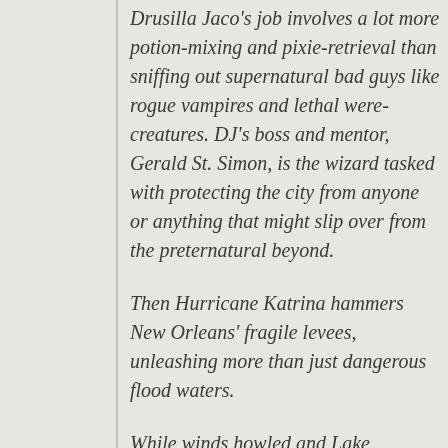Drusilla Jaco's job involves a lot more potion-mixing and pixie-retrieval than sniffing out supernatural bad guys like rogue vampires and lethal were-creatures. DJ's boss and mentor, Gerald St. Simon, is the wizard tasked with protecting the city from anyone or anything that might slip over from the preternatural beyond.
Then Hurricane Katrina hammers New Orleans' fragile levees, unleashing more than just dangerous flood waters.
While winds howled and Lake Pontchartrain surged, the borders between the modern city and the Otherworld crumbled. Now, the undead and the restless are roaming the Big Easy, and a serial killer with ties to voodoo is murdering the soldiers sent to help the city recover.